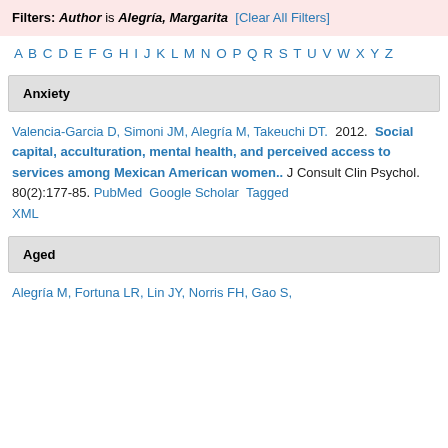Filters: Author is Alegría, Margarita [Clear All Filters]
A B C D E F G H I J K L M N O P Q R S T U V W X Y Z
Anxiety
Valencia-Garcia D, Simoni JM, Alegría M, Takeuchi DT. 2012. Social capital, acculturation, mental health, and perceived access to services among Mexican American women.. J Consult Clin Psychol. 80(2):177-85. PubMed Google Scholar Tagged XML
Aged
Alegría M, Fortuna LR, Lin JY, Norris FH, Gao S,